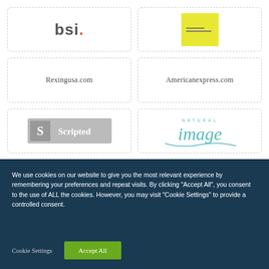[Figure (logo): BSI logo with stylized lowercase text 'bsi.' where the dot is orange]
[Figure (logo): Yellow square logo with small horizontal lines inside]
[Figure (logo): Text logo: Rexingusa.com in serif font]
[Figure (logo): Text logo: Americanexpress.com in serif font]
[Figure (logo): Scripted logo with S icon and text 'Scripted' on grey background]
[Figure (logo): Natural Image logo in teal/turquoise script font with decorative underline swash]
We use cookies on our website to give you the most relevant experience by remembering your preferences and repeat visits. By clicking “Accept All”, you consent to the use of ALL the cookies. However, you may visit "Cookie Settings" to provide a controlled consent.
Cookie Settings
Accept All